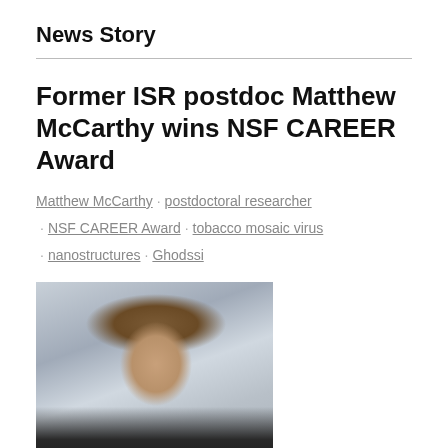News Story
Former ISR postdoc Matthew McCarthy wins NSF CAREER Award
Matthew McCarthy · postdoctoral researcher · NSF CAREER Award · tobacco mosaic virus · nanostructures · Ghodssi
[Figure (photo): Photo of Matthew McCarthy, a man with short brown hair and a goatee, wearing a dark jacket, photographed in a modern building interior with glass and metal structures visible in the background.]